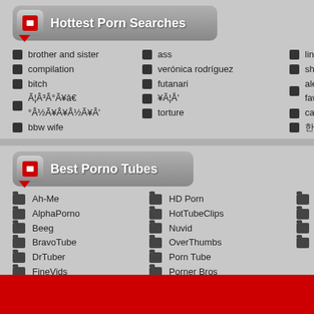Hottest Porn Searches
brother and sister
compilation
bitch
Ã¦Â³Â°Ã¥â€°Â½Ã¥Â¥Â½Ã¥Â'
bbw wife
ass
verónica rodríguez
futanari
¥Ã¦Å'
torture
lingerie
shemale
alexis fawx
casting
한국
Best Porno Tubes
Ah-Me
AlphaPorno
Beeg
BravoTube
DrTuber
FineVids
GotPorn
H2 Porn
HD Porn
HotTubeClips
Nuvid
OverThumbs
Porn Tube
Porner Bros
PornoXo
PornSharia
PrivateHomeC
SunPorno
Tube Wolf
XHamster